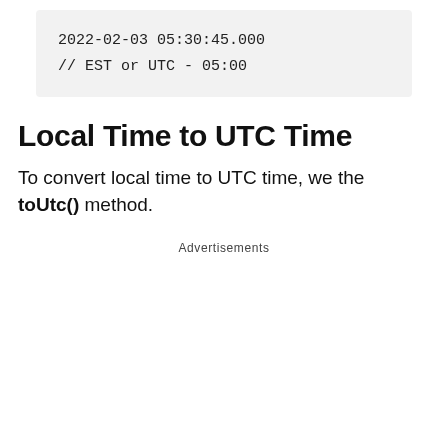2022-02-03 05:30:45.000
// EST or UTC - 05:00
Local Time to UTC Time
To convert local time to UTC time, we the toUtc() method.
Advertisements